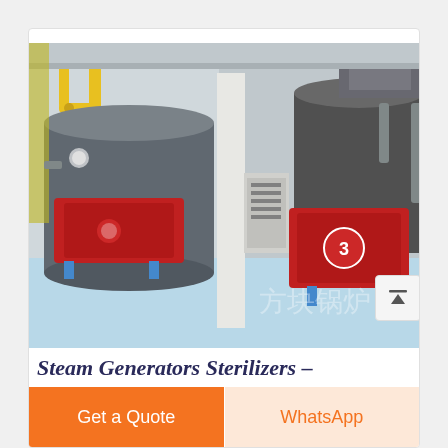[Figure (photo): Industrial boiler room with multiple large red and grey steam boiler units. Yellow pipes visible on left side. Blue/teal floor. Chinese watermark text visible at bottom right. Two main boilers with red burner fronts labeled with a '3' symbol.]
Steam Generators Sterilizers – Autoclaves & Instruments
Get a Quote
WhatsApp